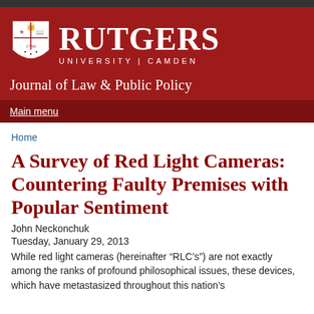[Figure (logo): Rutgers University Camden logo with shield and text: RUTGERS UNIVERSITY | CAMDEN]
Journal of Law & Public Policy
Main menu
Home
A Survey of Red Light Cameras: Countering Faulty Premises with Popular Sentiment
John Neckonchuk
Tuesday, January 29, 2013
While red light cameras (hereinafter “RLC’s”) are not exactly among the ranks of profound philosophical issues, these devices, which have metastasized throughout this nation’s